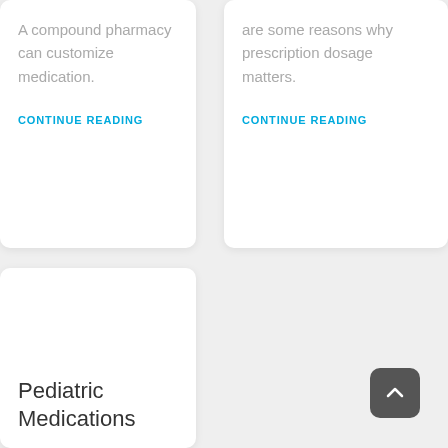A compound pharmacy can customize medication.
CONTINUE READING
are some reasons why prescription dosage matters.
CONTINUE READING
Pediatric Medications